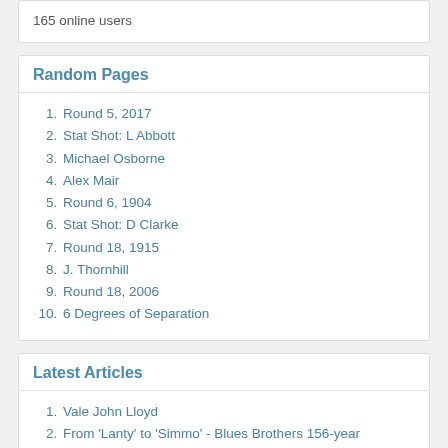165 online users
Random Pages
Round 5, 2017
Stat Shot: L Abbott
Michael Osborne
Alex Mair
Round 6, 1904
Stat Shot: D Clarke
Round 18, 1915
J. Thornhill
Round 18, 2006
6 Degrees of Separation
Latest Articles
Vale John Lloyd
From 'Lanty' to 'Simmo' - Blues Brothers 156-year unbroken run
Carlton loses member of Gill clan The Club is mourning the loss of Richard Gill.
Former Carlton rover Leo Brereton passes away